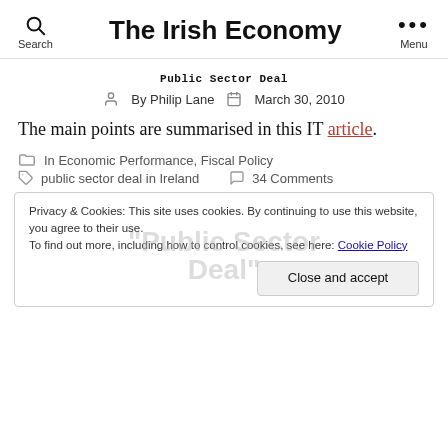The Irish Economy
Public Sector Deal
By Philip Lane   March 30, 2010
The main points are summarised in this IT article.
In Economic Performance, Fiscal Policy
public sector deal in Ireland   34 Comments
Privacy & Cookies: This site uses cookies. By continuing to use this website, you agree to their use. To find out more, including how to control cookies, see here: Cookie Policy